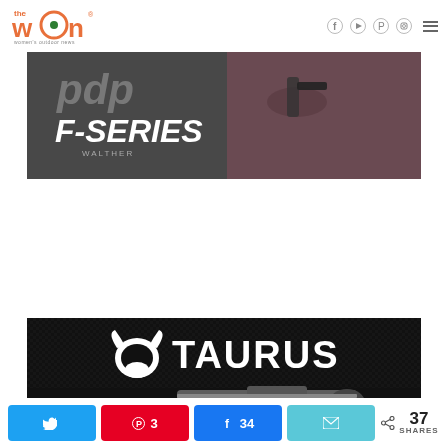[Figure (logo): The WON (Women's Outdoor News) logo with social media icons and hamburger menu]
[Figure (photo): PDP F-Series firearm advertisement banner showing a person holding a pistol with F-SERIES text overlay]
[Figure (photo): Taurus firearm advertisement banner showing Taurus logo and a handgun on dark textured background]
[Figure (infographic): Social share bar with Twitter, Pinterest (3), Facebook (34), Email buttons and 37 SHARES total]